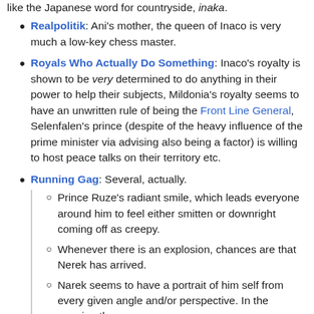like the Japanese word for countryside, inaka.
Realpolitik: Ani's mother, the queen of Inaco is very much a low-key chess master.
Royals Who Actually Do Something: Inaco's royalty is shown to be very determined to do anything in their power to help their subjects, Mildonia's royalty seems to have an unwritten rule of being the Front Line General, Selenfalen's prince (despite of the heavy influence of the prime minister via advising also being a factor) is willing to host peace talks on their territory etc.
Running Gag: Several, actually.
Prince Ruze's radiant smile, which leads everyone around him to feel either smitten or downright coming off as creepy.
Whenever there is an explosion, chances are that Nerek has arrived.
Narek seems to have a portrait of him self from every given angle and/or perspective. In the opening theme,